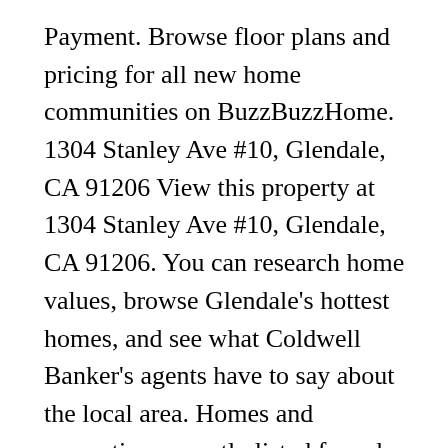Payment. Browse floor plans and pricing for all new home communities on BuzzBuzzHome. 1304 Stanley Ave #10, Glendale, CA 91206 View this property at 1304 Stanley Ave #10, Glendale, CA 91206. You can research home values, browse Glendale's hottest homes, and see what Coldwell Banker's agents have to say about the local area. Homes and properties currently listed for sale by owner in Glendale, CA. Glendale luxury homes for sale range from $15K - $5.75M with the avg price of a 2-bed single family home of $921K. The median rent in Glendale is $2,530. Search Now. Learn more Sort by Newest. Business For Sale In Glendale CA As with any company, running a home-